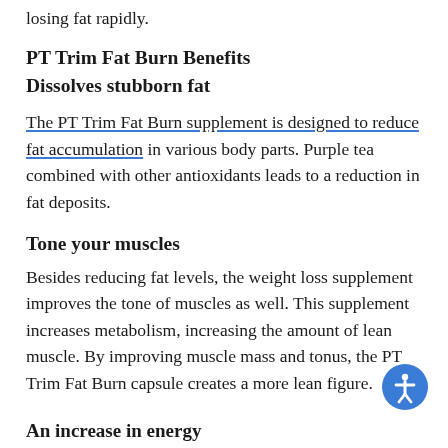losing fat rapidly.
PT Trim Fat Burn Benefits
Dissolves stubborn fat
The PT Trim Fat Burn supplement is designed to reduce fat accumulation in various body parts. Purple tea combined with other antioxidants leads to a reduction in fat deposits.
Tone your muscles
Besides reducing fat levels, the weight loss supplement improves the tone of muscles as well. This supplement increases metabolism, increasing the amount of lean muscle. By improving muscle mass and tonus, the PT Trim Fat Burn capsule creates a more lean figure.
An increase in energy